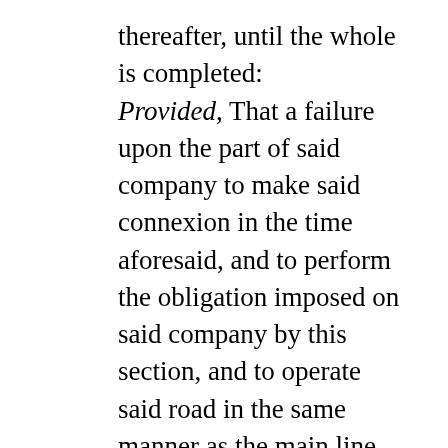thereafter, until the whole is completed: Provided, That a failure upon the part of said company to make said connexion in the time aforesaid, and to perform the obligation imposed on said company by this section, and to operate said road in the same manner as the main line shall be operated, shall forfeit to the government of the United States all the rights, privileges, and franchises granted to and conferred upon said company by this act. And whenever there shall be a line of railroad completed through Minnesota or Iowa to Sioux City, then the said Union Pacific Railroad Company is hereby authorized and required to construct a railroad and telegraph from said Sioux City upon the most direct and